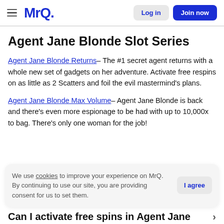MrQ — Log in | Join now
Agent Jane Blonde Slot Series
Agent Jane Blonde Returns– The #1 secret agent returns with a whole new set of gadgets on her adventure. Activate free respins on as little as 2 Scatters and foil the evil mastermind's plans.
Agent Jane Blonde Max Volume– Agent Jane Blonde is back and there's even more espionage to be had with up to 10,000x to bag. There's only one woman for the job!
We use cookies to improve your experience on MrQ. By continuing to use our site, you are providing consent for us to set them.
Can I activate free spins in Agent Jane